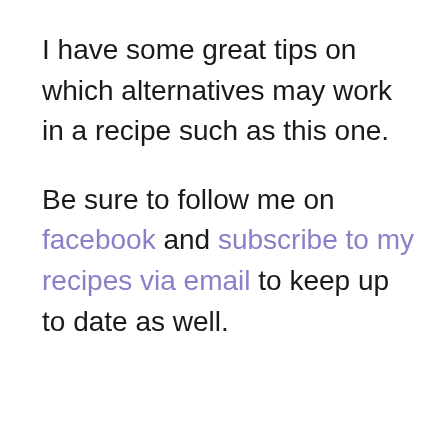I have some great tips on which alternatives may work in a recipe such as this one.
Be sure to follow me on facebook and subscribe to my recipes via email to keep up to date as well.